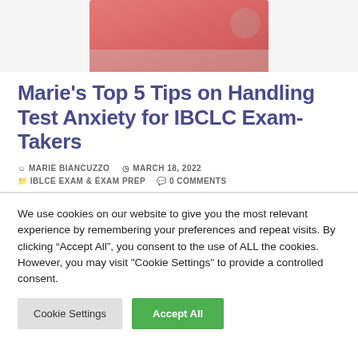[Figure (photo): Partial photo of a person in a pink/red top, cropped at top of page]
Marie’s Top 5 Tips on Handling Test Anxiety for IBCLC Exam-Takers
MARIE BIANCUZZO   MARCH 18, 2022   IBLCE EXAM & EXAM PREP   0 COMMENTS
We use cookies on our website to give you the most relevant experience by remembering your preferences and repeat visits. By clicking “Accept All”, you consent to the use of ALL the cookies. However, you may visit "Cookie Settings" to provide a controlled consent.